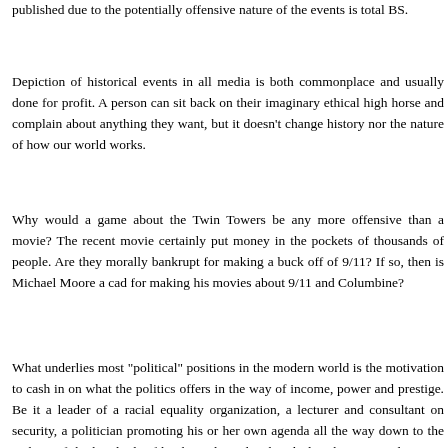published due to the potentially offensive nature of the events is total BS.
Depiction of historical events in all media is both commonplace and usually done for profit. A person can sit back on their imaginary ethical high horse and complain about anything they want, but it doesn't change history nor the nature of how our world works.
Why would a game about the Twin Towers be any more offensive than a movie? The recent movie certainly put money in the pockets of thousands of people. Are they morally bankrupt for making a buck off of 9/11? If so, then is Michael Moore a cad for making his movies about 9/11 and Columbine?
What underlies most "political" positions in the modern world is the motivation to cash in on what the politics offers in the way of income, power and prestige. Be it a leader of a racial equality organization, a lecturer and consultant on security, a politician promoting his or her own agenda all the way down to the authors of the hundreds of books and articles that deal with recent and ancient calamities and the